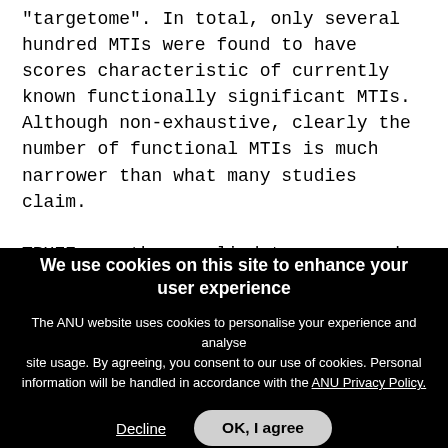"targetome". In total, only several hundred MTIs were found to have scores characteristic of currently known functionally significant MTIs. Although non-exhaustive, clearly the number of functional MTIs is much narrower than what many studies claim.

TRUEE was then applied to conserved miRNAs across diverse species to investigate factors beyond complementarity influencing an MTI. We
We use cookies on this site to enhance your user experience

The ANU website uses cookies to personalise your experience and analyse site usage. By agreeing, you consent to our use of cookies. Personal information will be handled in accordance with the ANU Privacy Policy.

Decline    OK, I agree